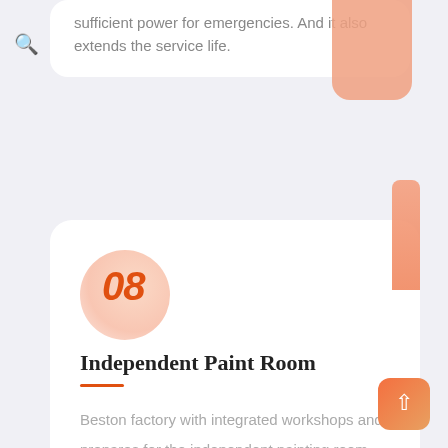sufficient power for emergencies. And it also extends the service life.
Independent Paint Room
Beston factory with integrated workshops and prepares for the independent painting room, which can keep the painting with high finish and bright color.